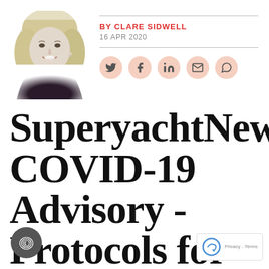[Figure (photo): Black and white headshot of Clare Sidwell, a blonde woman smiling, wearing a dark lace top]
BY CLARE SIDWELL
16 APR 2020
[Figure (infographic): Social share icons: Twitter, Facebook, LinkedIn, Email, WhatsApp — circular salmon/peach colored buttons]
SuperyachtNews COVID-19 Advisory - Protocols for